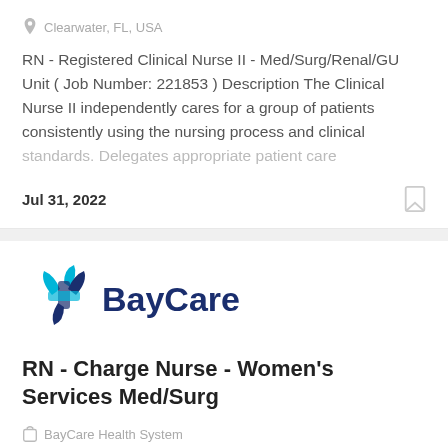Clearwater, FL, USA
RN - Registered Clinical Nurse II - Med/Surg/Renal/GU Unit ( Job Number: 221853 ) Description The Clinical Nurse II independently cares for a group of patients consistently using the nursing process and clinical standards. Delegates appropriate patient care
Jul 31, 2022
[Figure (logo): BayCare logo with blue cross/plus icon and dark blue 'BayCare' text]
RN - Charge Nurse - Women's Services Med/Surg
BayCare Health System